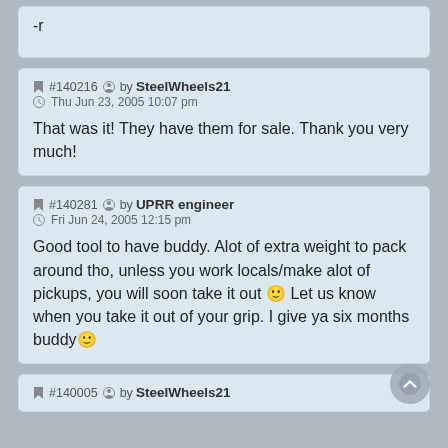-r
#140216 by SteelWheels21
Thu Jun 23, 2005 10:07 pm

That was it! They have them for sale. Thank you very much!
#140281 by UPRR engineer
Fri Jun 24, 2005 12:15 pm

Good tool to have buddy. Alot of extra weight to pack around tho, unless you work locals/make alot of pickups, you will soon take it out :) Let us know when you take it out of your grip. I give ya six months buddy :)
#140005 by SteelWheels21